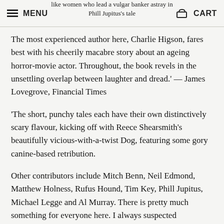MENU  CART
The most experienced author here, Charlie Higson, fares best with his cheerily macabre story about an ageing horror-movie actor. Throughout, the book revels in the unsettling overlap between laughter and dread.' — James Lovegrove, Financial Times
'The short, punchy tales each have their own distinctively scary flavour, kicking off with Reece Shearsmith's beautifully vicious-with-a-twist Dog, featuring some gory canine-based retribution.
Other contributors include Mitch Benn, Neil Edmond, Matthew Holness, Rufus Hound, Tim Key, Phill Jupitus, Michael Legge and Al Murray. There is pretty much something for everyone here. I always suspected comedians were a pretty sick and twisted fraternity. Dead Funny confirms it and the book is all the better for it.' —Bruce Dessau, Beyond the Joke